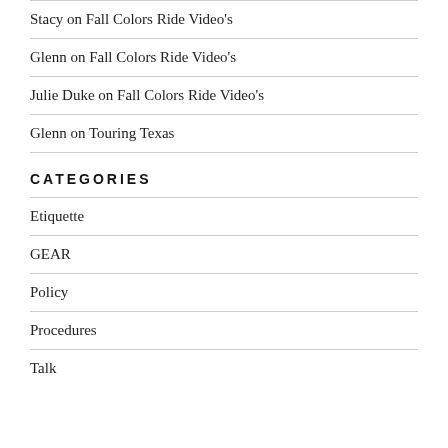Stacy on Fall Colors Ride Video's
Glenn on Fall Colors Ride Video's
Julie Duke on Fall Colors Ride Video's
Glenn on Touring Texas
CATEGORIES
Etiquette
GEAR
Policy
Procedures
Talk